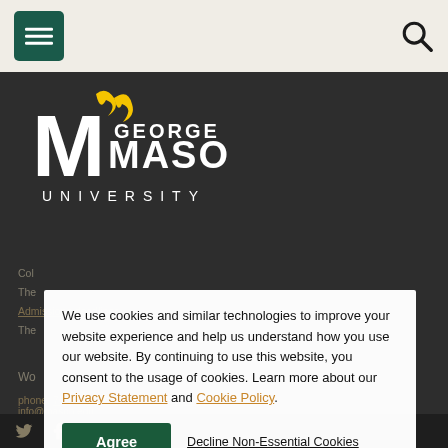[Figure (logo): George Mason University logo with stylized M and flame, white on dark background]
We use cookies and similar technologies to improve your website experience and help us understand how you use our website. By continuing to use this website, you consent to the usage of cookies. Learn more about our Privacy Statement and Cookie Policy.
Agree  Decline Non-Essential Cookies